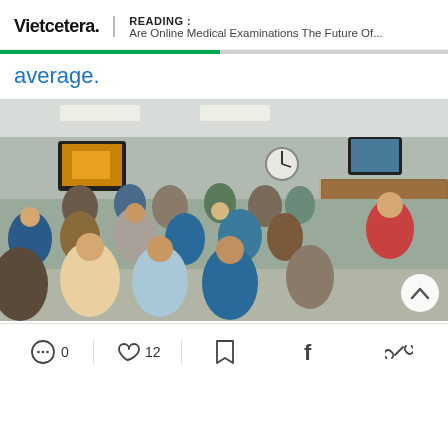Vietcetera. | READING : Are Online Medical Examinations The Future Of...
average.
[Figure (photo): Crowded hospital waiting room with many patients seated and standing, a reception desk visible on the right side, TV monitors on the wall, and a clock.]
0 comments, 12 likes, bookmark, share on Facebook, copy link